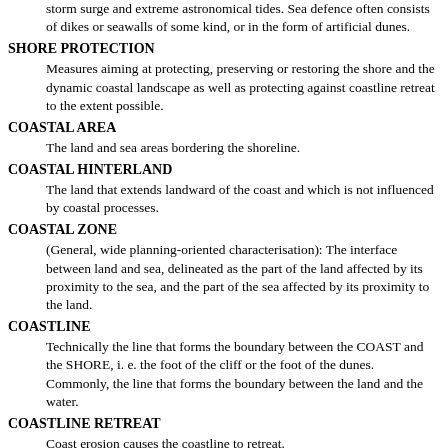storm surge and extreme astronomical tides. Sea defence often consists of dikes or seawalls of some kind, or in the form of artificial dunes.
SHORE PROTECTION
Measures aiming at protecting, preserving or restoring the shore and the dynamic coastal landscape as well as protecting against coastline retreat to the extent possible.
COASTAL AREA
The land and sea areas bordering the shoreline.
COASTAL HINTERLAND
The land that extends landward of the coast and which is not influenced by coastal processes.
COASTAL ZONE
(General, wide planning-oriented characterisation): The interface between land and sea, delineated as the part of the land affected by its proximity to the sea, and the part of the sea affected by its proximity to the land.
COASTLINE
Technically the line that forms the boundary between the COAST and the SHORE, i. e. the foot of the cliff or the foot of the dunes. Commonly, the line that forms the boundary between the land and the water.
COASTLINE RETREAT
Coast erosion causes the coastline to retreat.
DEVELOPMENT ACTIVITY